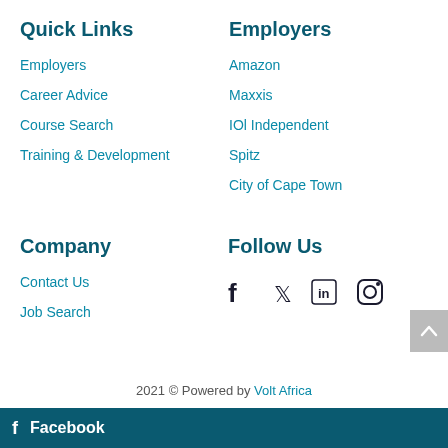Quick Links
Employers
Career Advice
Course Search
Training & Development
Employers
Amazon
Maxxis
IOl Independent
Spitz
City of Cape Town
Company
Contact Us
Job Search
Follow Us
[Figure (infographic): Social media icons: Facebook, Twitter, LinkedIn, Instagram]
2021 © Powered by Volt Africa
Facebook